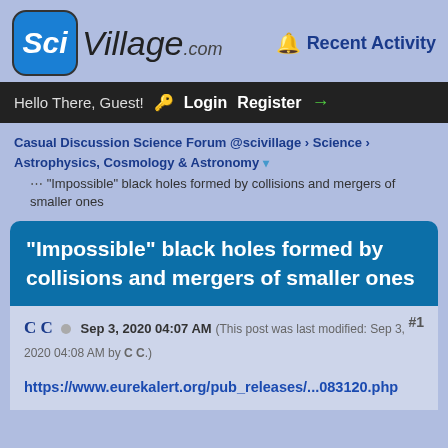[Figure (logo): SciVillage.com logo with blue rounded square containing 'Sci' in white italic bold text, followed by 'Village.com' in large italic text]
🔔 Recent Activity
Hello There, Guest! 🔑 Login Register →
Casual Discussion Science Forum @scivillage › Science › Astrophysics, Cosmology & Astronomy ▾
"Impossible" black holes formed by collisions and mergers of smaller ones
"Impossible" black holes formed by collisions and mergers of smaller ones
C C  Sep 3, 2020 04:07 AM (This post was last modified: Sep 3, 2020 04:08 AM by C C.) #1
https://www.eurekalert.org/pub_releases/...083120.php